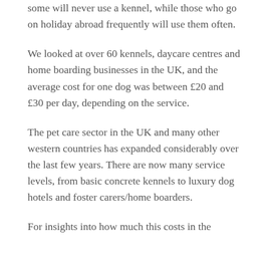some will never use a kennel, while those who go on holiday abroad frequently will use them often.
We looked at over 60 kennels, daycare centres and home boarding businesses in the UK, and the average cost for one dog was between £20 and £30 per day, depending on the service.
The pet care sector in the UK and many other western countries has expanded considerably over the last few years. There are now many service levels, from basic concrete kennels to luxury dog hotels and foster carers/home boarders.
For insights into how much this costs in the